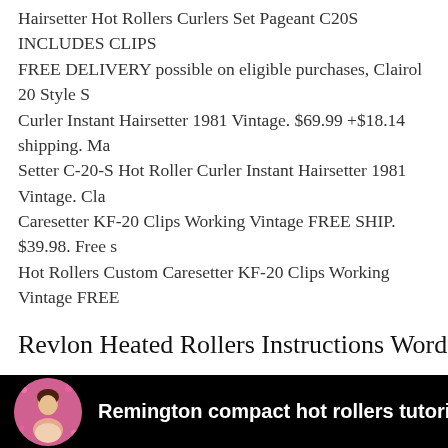Hairsetter Hot Rollers Curlers Set Pageant C20S INCLUDES CLIPS FREE DELIVERY possible on eligible purchases, Clairol 20 Style S Curler Instant Hairsetter 1981 Vintage. $69.99 +$18.14 shipping. Ma Setter C-20-S Hot Roller Curler Instant Hairsetter 1981 Vintage. Cla Caresetter KF-20 Clips Working Vintage FREE SHIP. $39.98. Free s Hot Rollers Custom Caresetter KF-20 Clips Working Vintage FREE
Revlon Heated Rollers Instructions WordPress.com
[Figure (screenshot): A video thumbnail/player with black background showing a circular avatar photo of a woman in front of a pink floral background, with white bold text reading 'Remington compact hot rollers tutorial with sho...']